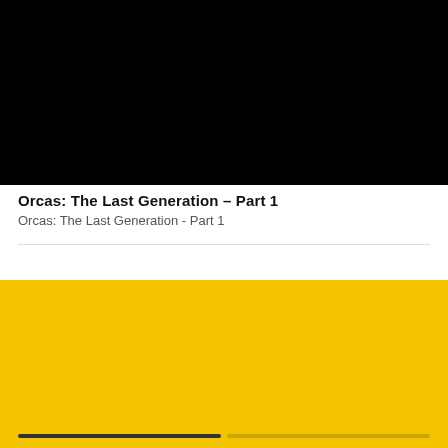[Figure (screenshot): Black video player area]
Orcas: The Last Generation – Part 1
Orcas: The Last Generation - Part 1
[Figure (infographic): News alert banner with yellow background. NEWS ALERT label in black box. Close X button. Thumbnail image of heat advisory map. Headline: Scorching end to August as Heat Advisory goes into effect. Subtext: Get the FOX 13 Seattle Weather App. Download Now. Progress bar at bottom.]